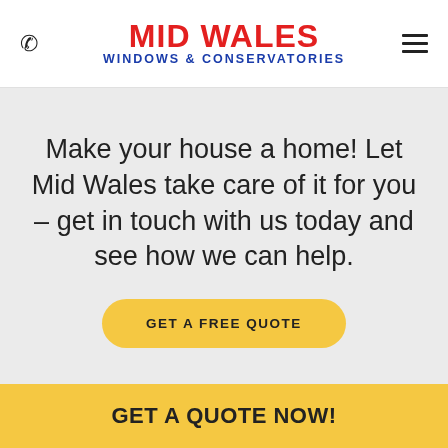MID WALES WINDOWS & CONSERVATORIES
Make your house a home! Let Mid Wales take care of it for you – get in touch with us today and see how we can help.
GET A FREE QUOTE
GET A QUOTE NOW!